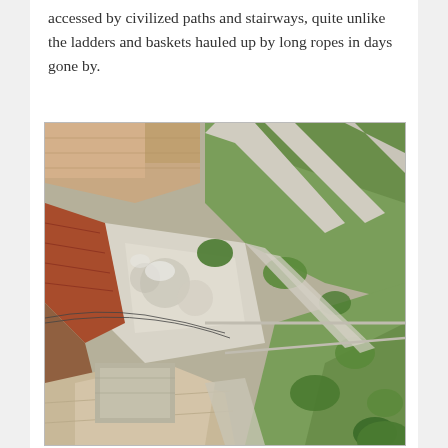accessed by civilized paths and stairways, quite unlike the ladders and baskets hauled up by long ropes in days gone by.
[Figure (photo): Aerial bird's-eye view photograph looking down at a hillside village scene showing terraced paths, stone walls, green vegetation/trees, building rooftops, and a construction or rubble area in the center-left.]